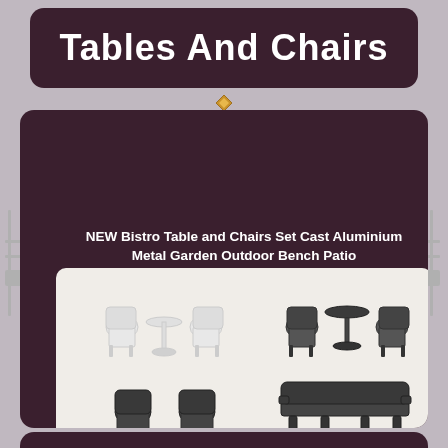Tables And Chairs
NEW Bistro Table and Chairs Set Cast Aluminium Metal Garden Outdoor Bench Patio
[Figure (photo): Product listing image showing multiple bistro table and chair sets in white and dark bronze/black cast aluminium, including 2-chair sets, 3-piece bistro sets, and garden benches in various colours. Features a '2019 new' badge, UK flag with 'High Quality', '30 Days Return' and 'Free Shipping' banner at the bottom.]